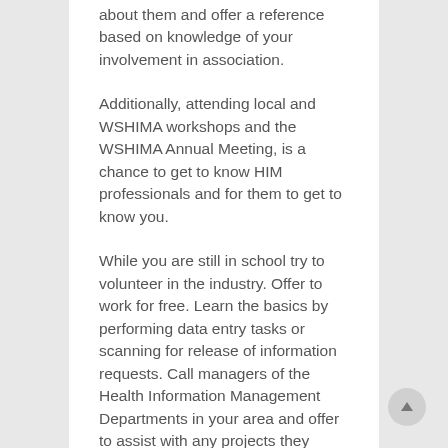about them and offer a reference based on knowledge of your involvement in association.
Additionally, attending local and WSHIMA workshops and the WSHIMA Annual Meeting, is a chance to get to know HIM professionals and for them to get to know you.
While you are still in school try to volunteer in the industry. Offer to work for free. Learn the basics by performing data entry tasks or scanning for release of information requests. Call managers of the Health Information Management Departments in your area and offer to assist with any projects they might need completed such as research or writing up task flow